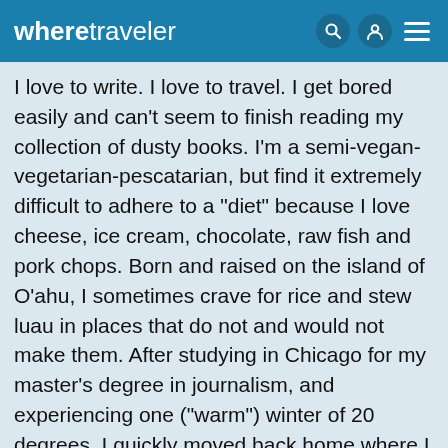wheretraveler
I love to write. I love to travel. I get bored easily and can't seem to finish reading my collection of dusty books. I'm a semi-vegan-vegetarian-pescatarian, but find it extremely difficult to adhere to a "diet" because I love cheese, ice cream, chocolate, raw fish and pork chops. Born and raised on the island of O'ahu, I sometimes crave for rice and stew luau in places that do not and would not make them. After studying in Chicago for my master's degree in journalism, and experiencing one ("warm") winter of 20 degrees, I quickly moved back home where I can now wear shorts and rubber slippers without getting a second glance. I'm married to my best friend and we each belong to a very large tribe of cousins, aunties and uncles who've known us since birth. It's amazing how we all get any work done. In my spare time, unless I'm off attempting to interact more on the world...I'll find...